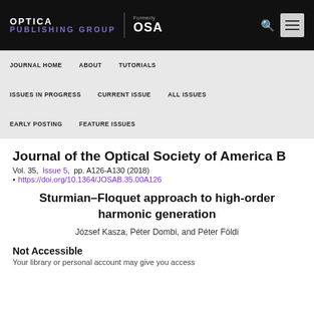OPTICA PUBLISHING GROUP | Formerly OSA
JOURNAL HOME   ABOUT   TUTORIALS   ISSUES IN PROGRESS   CURRENT ISSUE   ALL ISSUES   EARLY POSTING   FEATURE ISSUES
Journal of the Optical Society of America B
Vol. 35, Issue 5, pp. A126-A130 (2018)
https://doi.org/10.1364/JOSAB.35.00A126
Sturmian–Floquet approach to high-order harmonic generation
József Kasza, Péter Dombi, and Péter Földi
Not Accessible
Your library or personal account may give you access